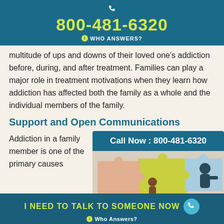800-481-6320 WHO ANSWERS?
multitude of ups and downs of their loved one's addiction before, during, and after treatment. Families can play a major role in treatment motivations when they learn how addiction has affected both the family as a whole and the individual members of the family.
Support and Open Communications
Addiction in a family member is one of the primary causes
[Figure (infographic): Call Now banner with 800-481-6320 and puzzle pieces image showing colorful family figures]
I NEED TO TALK TO SOMEONE NOW  Who Answers?